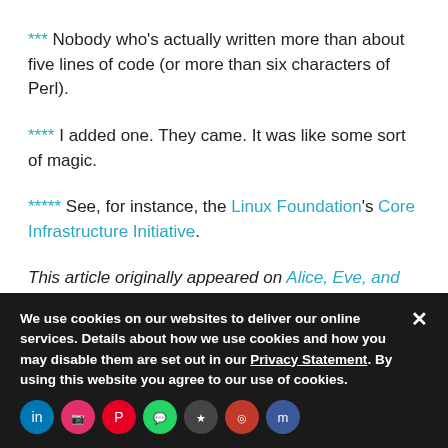*** Nobody who's actually written more than about five lines of code (or more than six characters of Perl).
**** I added one. They came. It was like some sort of magic.
***** See, for instance, the Linux Foundation's Core Infrastructure Initiative.
This article originally appeared on Alice, Eve, and Bob – a security blog and is republished with
We use cookies on our websites to deliver our online services. Details about how we use cookies and how you may disable them are set out in our Privacy Statement. By using this website you agree to our use of cookies.